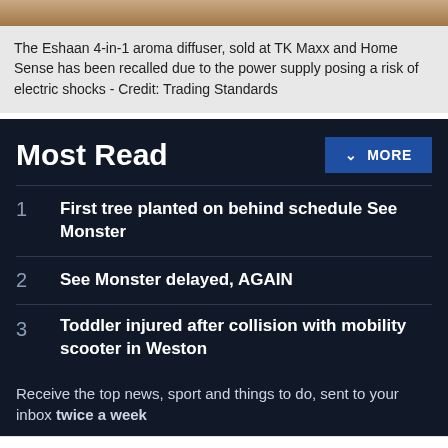[Figure (photo): Partial image of a person visible at top of page]
The Eshaan 4-in-1 aroma diffuser, sold at TK Maxx and Home Sense has been recalled due to the power supply posing a risk of electric shocks - Credit: Trading Standards
Most Read
1 First tree planted on behind schedule See Monster
2 See Monster delayed, AGAIN
3 Toddler injured after collision with mobility scooter in Weston
Receive the top news, sport and things to do, sent to your inbox twice a week
By clicking “Accept All Cookies”, you agree to the storing of cookies on your device to enhance site navigation, analyze site usage, and assist in our marketing efforts.